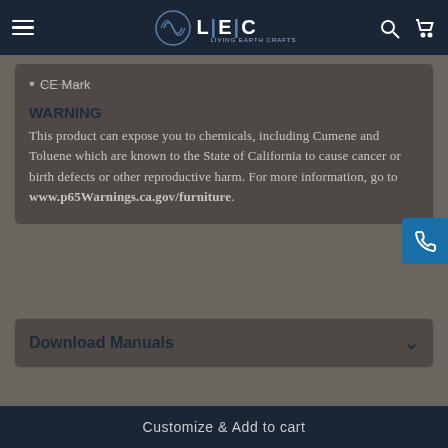LEC Living Earth Crafts
CE Mark
WARNING
This product can expose you to chemicals, including Cumene and Toluene which are known to the State of California to cause cancer or birth defects or other reproductive harm. For more information, go to www.p65Warnings.ca.gov/furniture.
Download Manuals
Customize & Add to cart